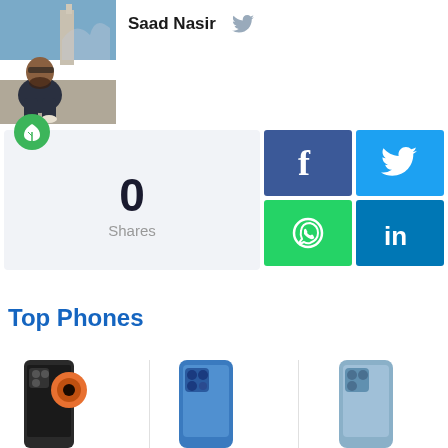[Figure (photo): Author photo of Saad Nasir, a bearded man sitting on steps near a monument, wearing dark clothing and sunglasses on his head.]
Saad Nasir
[Figure (infographic): Shares count widget showing 0 Shares with a green leaf icon, and social share buttons for Facebook, Twitter, WhatsApp, and LinkedIn.]
Top Phones
[Figure (photo): Three smartphone product images partially visible at the bottom: two Samsung phones and one iPhone 13 in blue, and another iPhone in blue-silver.]